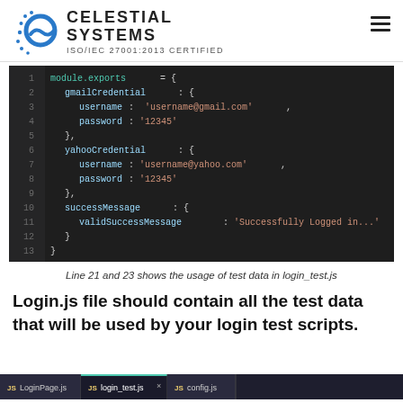CELESTIAL SYSTEMS — ISO/IEC 27001:2013 CERTIFIED
[Figure (screenshot): Code editor screenshot showing a JavaScript module.exports object with gmailCredential (username: 'username@gmail.com', password: '12345'), yahooCredential (username: 'username@yahoo.com', password: '12345'), and successMessage (validSuccessMessage: 'Successfully Logged in...'), lines 1-13, dark theme editor]
Line 21 and 23 shows the usage of test data in login_test.js
Login.js file should contain all the test data that will be used by your login test scripts.
[Figure (screenshot): Bottom tab bar of code editor showing tabs: JS LoginPage.js, JS login_test.js (active), JS config.js]